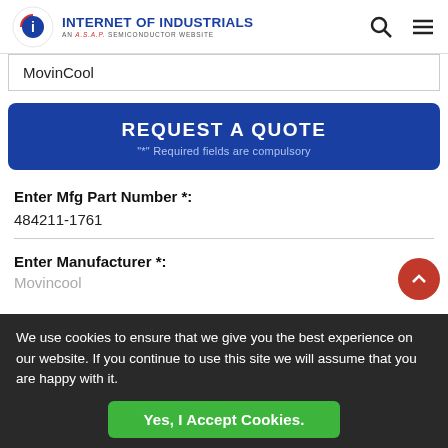INTERNET OF INDUSTRIALS — AN A.S.A.P. SEMICONDUCTOR WEBSITE
MovinCool
REQUEST A QUOTE
"*" Required fields are compulsory
Enter Mfg Part Number *:
484211-1761
Enter Manufacturer *:
Movincool
We use cookies to ensure that we give you the best experience on our website. If you continue to use this site we will assume that you are happy with it.
Yes, I Accept Cookies.